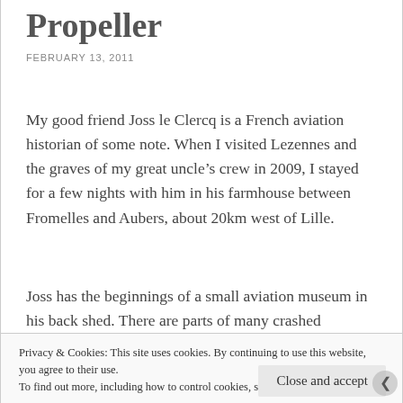Propeller
FEBRUARY 13, 2011
My good friend Joss le Clercq is a French aviation historian of some note. When I visited Lezennes and the graves of my great uncle’s crew in 2009, I stayed for a few nights with him in his farmhouse between Fromelles and Aubers, about 20km west of Lille.
Joss has the beginnings of a small aviation museum in his back shed. There are parts of many crashed
Privacy & Cookies: This site uses cookies. By continuing to use this website, you agree to their use.
To find out more, including how to control cookies, see here: Cookie Policy
Close and accept